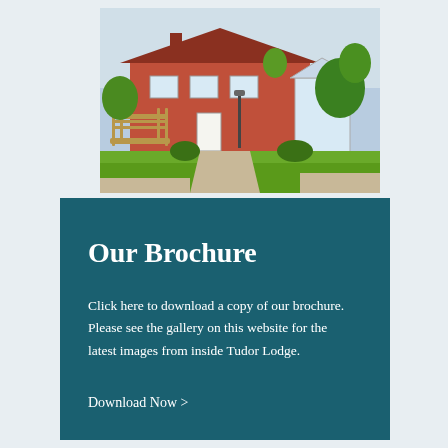[Figure (photo): Exterior photo of Tudor Lodge care home showing a brick building with white windows, a well-maintained green lawn, garden bench in the foreground, trees and shrubs surrounding the property, and a conservatory on the right.]
Our Brochure
Click here to download a copy of our brochure. Please see the gallery on this website for the latest images from inside Tudor Lodge.
Download Now >